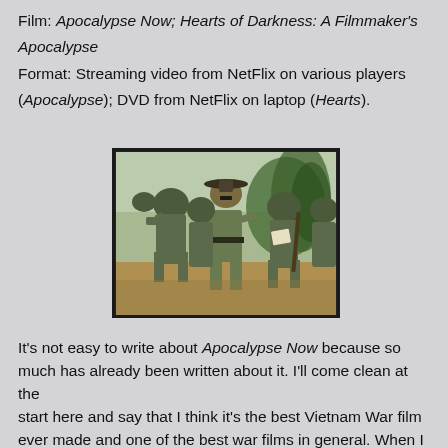Film: Apocalypse Now; Hearts of Darkness: A Filmmaker's Apocalypse
Format: Streaming video from NetFlix on various players (Apocalypse); DVD from NetFlix on laptop (Hearts).
[Figure (photo): A still from Apocalypse Now showing several soldiers in Vietnam War-era military gear and helmets, with a central officer figure in a campaign hat standing among them in a tropical outdoor setting.]
It's not easy to write about Apocalypse Now because so much has already been written about it. I'll come clean at the start here and say that I think it's the best Vietnam War film ever made and one of the best war films in general. When I was younger, I'd have picked Full Metal Jacket. FMJ is underrated—the opening half is so good that people forget